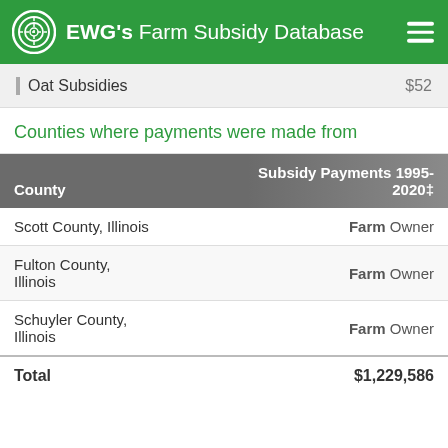EWG's Farm Subsidy Database
Oat Subsidies $52
Counties where payments were made from
| County | Subsidy Payments 1995-2020‡ |
| --- | --- |
| Scott County, Illinois | Farm Owner |
| Fulton County, Illinois | Farm Owner |
| Schuyler County, Illinois | Farm Owner |
| Total | $1,229,586 |